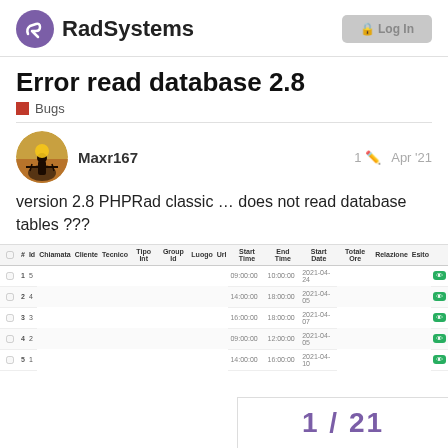[Figure (logo): RadSystems logo with purple arrow icon and bold text]
Error read database 2.8
Bugs
Maxr167   1  Apr '21
version 2.8 PHPRad classic … does not read database tables ???
[Figure (screenshot): Table screenshot showing columns: # Id Chiamata Cliente Tecnico Tipo Int Group Id Luogo Url Start Time End Time Start Date Totale Ore Relazione Esito with 5 rows of data]
1 / 21